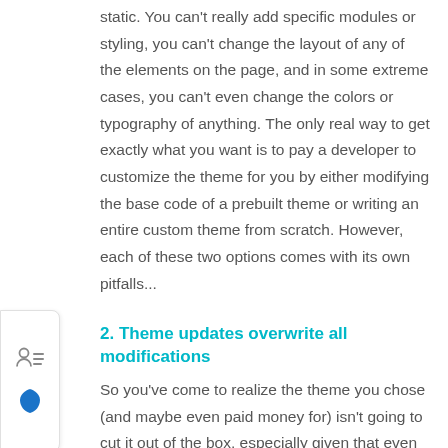static. You can't really add specific modules or styling, you can't change the layout of any of the elements on the page, and in some extreme cases, you can't even change the colors or typography of anything. The only real way to get exactly what you want is to pay a developer to customize the theme for you by either modifying the base code of a prebuilt theme or writing an entire custom theme from scratch. However, each of these two options comes with its own pitfalls...
2. Theme updates overwrite all modifications
So you've come to realize the theme you chose (and maybe even paid money for) isn't going to cut it out of the box, especially given that even ad tracking pixels have to be installed within the theme, even if there aren't any cosmetic changes